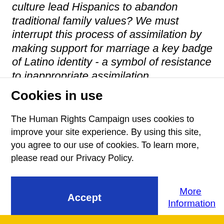culture lead Hispanics to abandon traditional family values? We must interrupt this process of assimilation by making support for marriage a key badge of Latino identity - a symbol of resistance to inappropriate assimilation.
Cookies in use
The Human Rights Campaign uses cookies to improve your site experience. By using this site, you agree to our use of cookies. To learn more, please read our Privacy Policy.
Accept
More Information